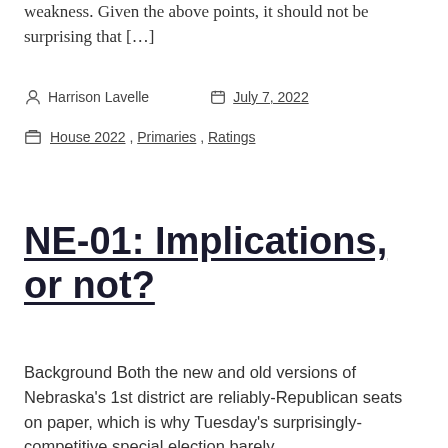weakness. Given the above points, it should not be surprising that […]
Harrison Lavelle   July 7, 2022
House 2022, Primaries, Ratings
NE-01: Implications, or not?
Background Both the new and old versions of Nebraska's 1st district are reliably-Republican seats on paper, which is why Tuesday's surprisingly-competitive special election barely